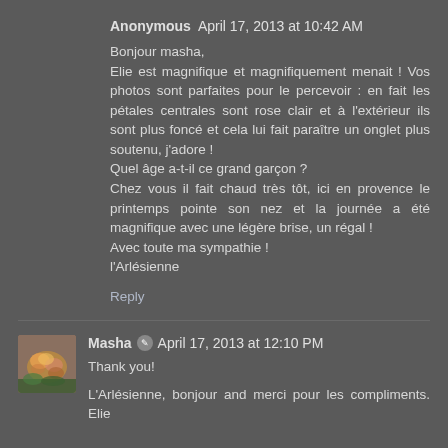Anonymous April 17, 2013 at 10:42 AM
Bonjour masha,
Elie est magnifique et magnifiquement menait ! Vos photos sont parfaites pour le percevoir : en fait les pétales centrales sont rose clair et à l'extérieur ils sont plus foncé et cela lui fait paraître un onglet plus soutenu, j'adore !
Quel âge a-t-il ce grand garçon ?
Chez vous il fait chaud très tôt, ici en provence le printemps pointe son nez et la journée a été magnifique avec une légère brise, un régal !
Avec toute ma sympathie !
l'Arlésienne
Reply
Masha April 17, 2013 at 12:10 PM
Thank you!

L'Arlésienne, bonjour and merci pour les compliments. Elie